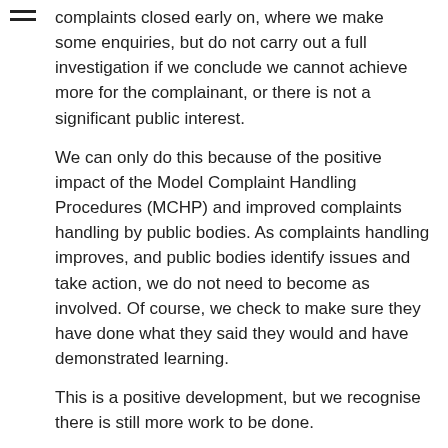complaints closed early on, where we make some enquiries, but do not carry out a full investigation if we conclude we cannot achieve more for the complainant, or there is not a significant public interest.
We can only do this because of the positive impact of the Model Complaint Handling Procedures (MCHP) and improved complaints handling by public bodies. As complaints handling improves, and public bodies identify issues and take action, we do not need to become as involved. Of course, we check to make sure they have done what they said they would and have demonstrated learning.
This is a positive development, but we recognise there is still more work to be done.
We completed the first review of the MCHP, which is now easier to use and covers additional themes like resolution, vulnerability and supporting staff.
At the same time, we recognised that one of the most